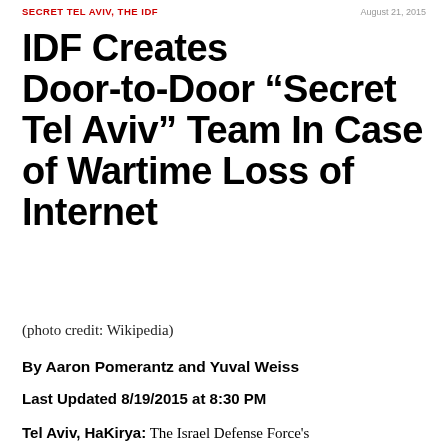SECRET TEL AVIV, THE IDF | August 21, 2015
IDF Creates Door-to-Door “Secret Tel Aviv” Team In Case of Wartime Loss of Internet
(photo credit: Wikipedia)
By Aaron Pomerantz and Yuval Weiss
Last Updated 8/19/2015 at 8:30 PM
Tel Aviv, HaKirya: The Israel Defense Force’s Home Front Command has responded with a ...